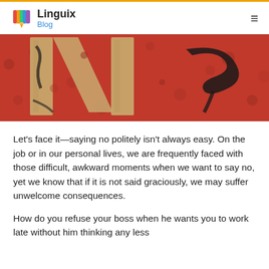Linguix Blog
[Figure (photo): Abstract red background with large golden/beige letterforms and black brushstroke marks, resembling a 'No' sign or calligraphic art]
Let's face it—saying no politely isn't always easy. On the job or in our personal lives, we are frequently faced with those difficult, awkward moments when we want to say no, yet we know that if it is not said graciously, we may suffer unwelcome consequences.
How do you refuse your boss when he wants you to work late without him thinking any less